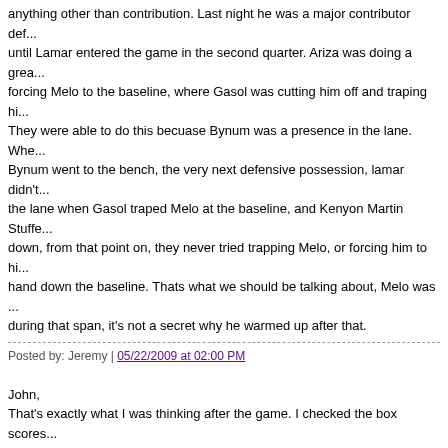anything other than contribution. Last night he was a major contributor def... until Lamar entered the game in the second quarter. Ariza was doing a grea... forcing Melo to the baseline, where Gasol was cutting him off and traping hi... They were able to do this becuase Bynum was a presence in the lane. Whe... Bynum went to the bench, the very next defensive possession, lamar didn't... the lane when Gasol traped Melo at the baseline, and Kenyon Martin Stuffe... down, from that point on, they never tried trapping Melo, or forcing him to hi... hand down the baseline. Thats what we should be talking about, Melo was ... during that span, it's not a secret why he warmed up after that.
Posted by: Jeremy | 05/22/2009 at 02:00 PM
John,
That's exactly what I was thinking after the game. I checked the box scores... be sure. I can't find any line for Lakers that was better or worse than the Nu... I was just looking to see where the 3 point differential was that was the diffe... in the game. Anyways, good work on the blog and love listening to your sho... daily.
Posted by: Mohammed | 05/22/2009 at 08:30 PM
The comments to this entry are closed.